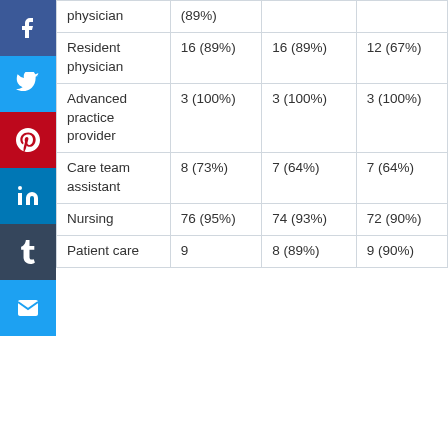| physician | (89%) |  |  |
| Resident physician | 16 (89%) | 16 (89%) | 12 (67%) |
| Advanced practice provider | 3 (100%) | 3 (100%) | 3 (100%) |
| Care team assistant | 8 (73%) | 7 (64%) | 7 (64%) |
| Nursing | 76 (95%) | 74 (93%) | 72 (90%) |
| Patient care | 9 | 8 (89%) | 9 (90%) |